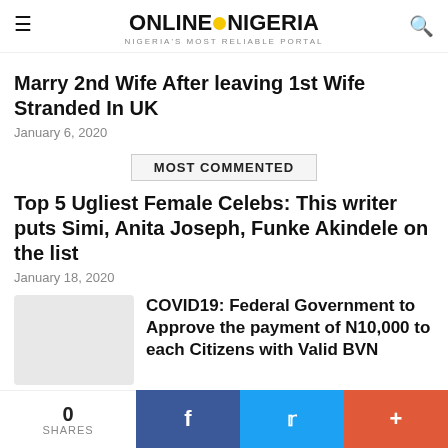ONLINE NIGERIA — NIGERIA'S MOST RELIABLE PORTAL
Marry 2nd Wife After leaving 1st Wife Stranded In UK
January 6, 2020
MOST COMMENTED
Top 5 Ugliest Female Celebs: This writer puts Simi, Anita Joseph, Funke Akindele on the list
January 18, 2020
[Figure (photo): Thumbnail image placeholder (light gray box)]
COVID19: Federal Government to Approve the payment of N10,000 to each Citizens with Valid BVN
March 29, 2020
0 SHARES | Facebook | Twitter | +